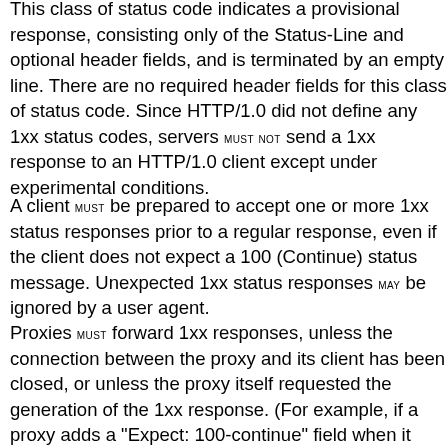This class of status code indicates a provisional response, consisting only of the Status-Line and optional header fields, and is terminated by an empty line. There are no required header fields for this class of status code. Since HTTP/1.0 did not define any 1xx status codes, servers MUST NOT send a 1xx response to an HTTP/1.0 client except under experimental conditions.
A client MUST be prepared to accept one or more 1xx status responses prior to a regular response, even if the client does not expect a 100 (Continue) status message. Unexpected 1xx status responses MAY be ignored by a user agent.
Proxies MUST forward 1xx responses, unless the connection between the proxy and its client has been closed, or unless the proxy itself requested the generation of the 1xx response. (For example, if a proxy adds a "Expect: 100-continue" field when it forwards a request, then it need not forward the corresponding 100